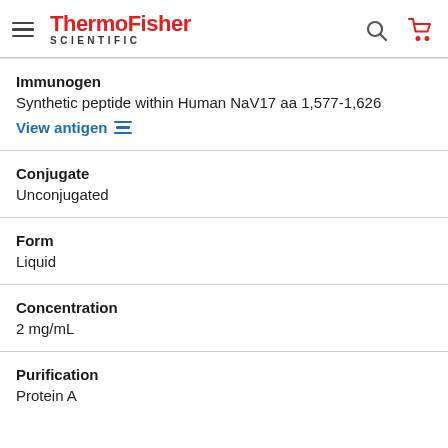ThermoFisher SCIENTIFIC
Immunogen
Synthetic peptide within Human NaV17 aa 1,577-1,626
View antigen
Conjugate
Unconjugated
Form
Liquid
Concentration
2 mg/mL
Purification
Protein A